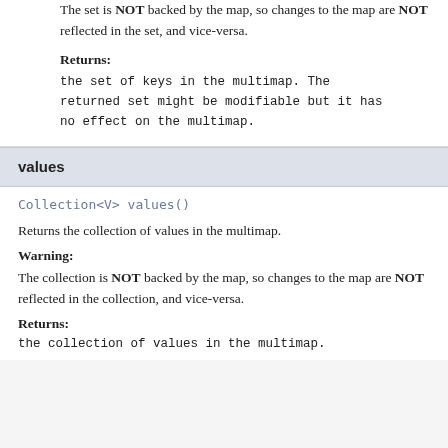The set is NOT backed by the map, so changes to the map are NOT reflected in the set, and vice-versa.
Returns:
the set of keys in the multimap. The returned set might be modifiable but it has no effect on the multimap.
values
Collection<V> values()
Returns the collection of values in the multimap.
Warning:
The collection is NOT backed by the map, so changes to the map are NOT reflected in the collection, and vice-versa.
Returns:
the collection of values in the multimap.